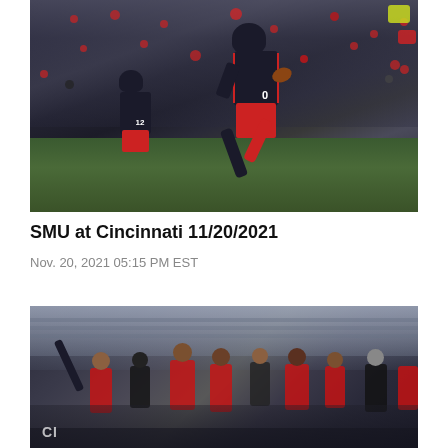[Figure (photo): Cincinnati Bearcats football player #9 running with ball during game against SMU on November 20 2021, with player #12 visible in background, crowd in stands]
SMU at Cincinnati 11/20/2021
Nov. 20, 2021 05:15 PM EST
[Figure (photo): Cincinnati Bearcats football celebration scene with players and fans in the stadium, CI text visible at bottom left]